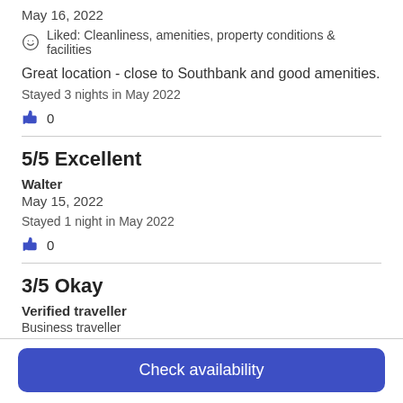May 16, 2022
Liked: Cleanliness, amenities, property conditions & facilities
Great location - close to Southbank and good amenities.
Stayed 3 nights in May 2022
0
5/5 Excellent
Walter
May 15, 2022
Stayed 1 night in May 2022
0
3/5 Okay
Verified traveller
Business traveller
Check availability